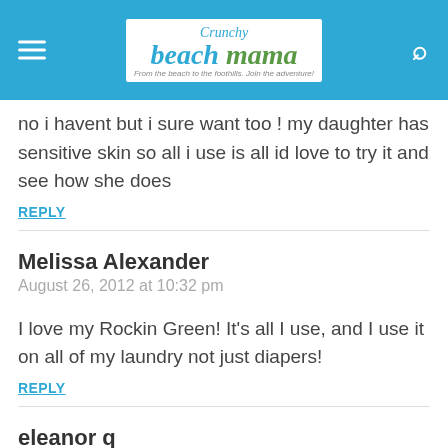[Figure (logo): Crunchy Beach Mama blog logo with blue header bar, hamburger menu icon on left, search icon on right]
no i havent but i sure want too ! my daughter has sensitive skin so all i use is all id love to try it and see how she does
REPLY
Melissa Alexander
August 26, 2012 at 10:32 pm
I love my Rockin Green! It's all I use, and I use it on all of my laundry not just diapers!
REPLY
eleanor q
August 26, 2012 at 10:48 pm